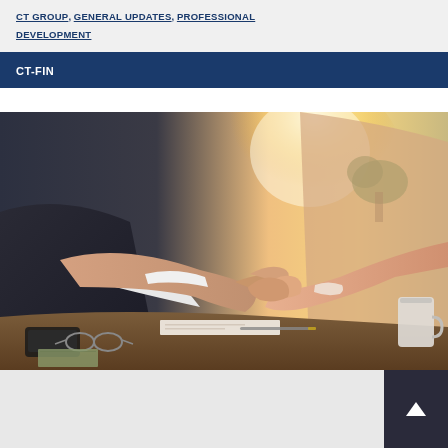CT GROUP, GENERAL UPDATES, PROFESSIONAL DEVELOPMENT
CT-FIN
[Figure (photo): Two people shaking hands across a desk with documents, glasses, phone, and a coffee cup visible on the desk surface. Bright warm light in background with a plant.]
Jul 08, 2021